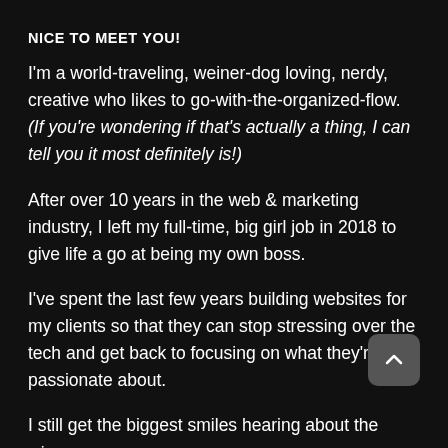NICE TO MEET YOU!
I'm a world-traveling, weiner-dog loving, nerdy, creative who likes to go-with-the-organized-flow. (If you're wondering if that's actually a thing, I can tell you it most definitely is!)
After over 10 years in the web & marketing industry, I left my full-time, big girl job in 2018 to give life a go at being my own boss.
I've spent the last few years building websites for my clients so that they can stop stressing over the tech and get back to focusing on what they're passionate about.
I still get the biggest smiles hearing about the wins, no